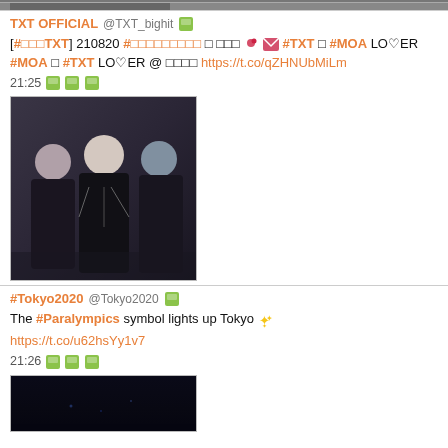[Figure (photo): Cropped top portion of a photo, dark tones, partially visible]
TXT OFFICIAL @TXT_bighit [#□□□TXT] 210820 #□□□□□□□□□ □ □□□ 💌 #TXT □ #MOA LO♡ER #MOA □ #TXT LO♡ER @ □□□□ https://t.co/qZHNUbMiLm 21:25 🖼🖼🖼
[Figure (photo): Three K-pop artists wearing black outfits with chains and accessories, posing together]
#Tokyo2020 @Tokyo2020 The #Paralympics symbol lights up Tokyo ✨ https://t.co/u62hsYy1v7 21:26 🖼🖼🖼
[Figure (photo): Dark nighttime photo, partially cropped at bottom of page]